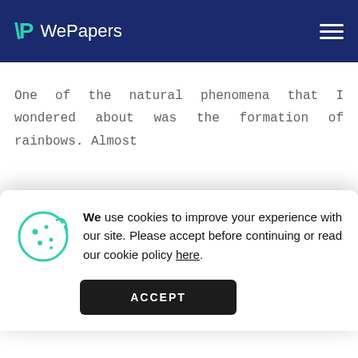WePapers
One of the natural phenomena that I wondered about was the formation of rainbows. Almost
We use cookies to improve your experience with our site. Please accept before continuing or read our cookie policy here.
My limited knowledge in physics came in handy to answer these questions. Accordingly, for the first question, white light just like the light that comes from the sun is actually made Continue reading